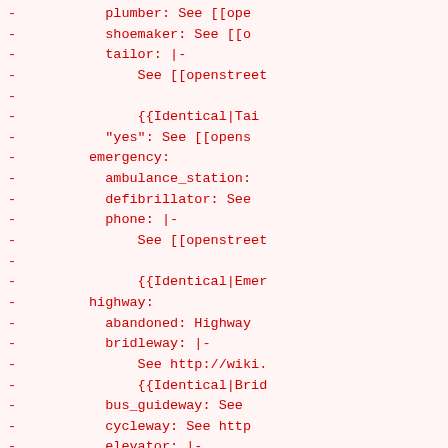Code/markup snippet showing OpenStreetMap wiki template entries for various tags including plumber, shoemaker, tailor, emergency (ambulance_station, defibrillator, phone), highway (abandoned, bridleway, bus_guideway, cycleway, elevator, footway, ford, living_street, milestone, motorway)